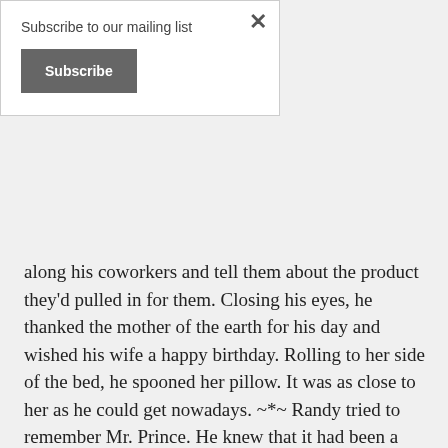Subscribe to our mailing list
Subscribe
along his coworkers and tell them about the product they'd pulled in for them. Closing his eyes, he thanked the mother of the earth for his day and wished his wife a happy birthday. Rolling to her side of the bed, he spooned her pillow. It was as close to her as he could get nowadays. ~*~ Randy tried to remember Mr. Prince. He knew that it had been a while. He'd left home when he'd turned eighteen and had never looked back. Now he was successful, married, and had two children. And, his parents were both now dead. “The fire was a big one, as you can imagine. They rushed your momma to the hospital by life flight, but she just couldn’t make it.